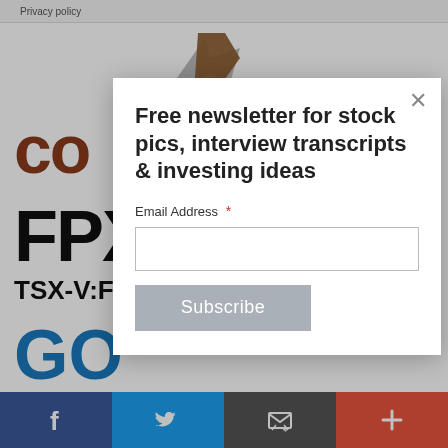Privacy policy
[Figure (logo): Partial logo letters 'CO' in brown/copper color]
[Figure (logo): Stock ticker 'FPX' in large bold black text with 'TSX-V:F' below]
[Figure (logo): Partial letters 'GO' in blue color]
Free newsletter for stock pics, interview transcripts & investing ideas
Email Address *
Subscribe
[Figure (infographic): Social sharing bar with Facebook, Twitter, Email, and Plus buttons at the bottom]